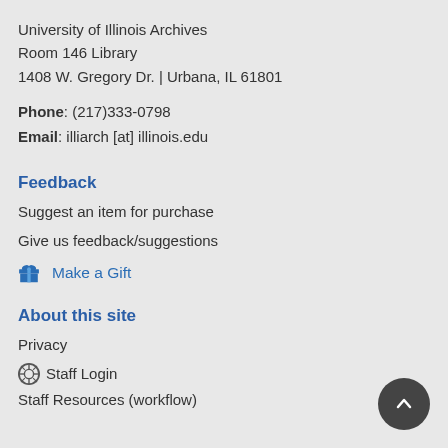University of Illinois Archives
Room 146 Library
1408 W. Gregory Dr. | Urbana, IL 61801
Phone: (217)333-0798
Email: illiarch [at] illinois.edu
Feedback
Suggest an item for purchase
Give us feedback/suggestions
Make a Gift
About this site
Privacy
Staff Login
Staff Resources (workflow)